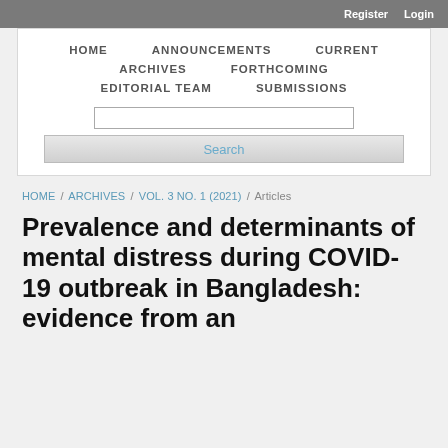Register   Login
HOME   ANNOUNCEMENTS   CURRENT   ARCHIVES   FORTHCOMING   EDITORIAL TEAM   SUBMISSIONS
HOME / ARCHIVES / VOL. 3 NO. 1 (2021) / Articles
Prevalence and determinants of mental distress during COVID-19 outbreak in Bangladesh: evidence from an